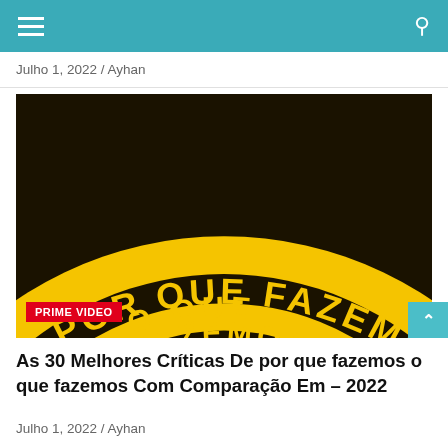Julho 1, 2022 / Ayhan
[Figure (illustration): Book or documentary cover showing concentric black and yellow arcs with the Portuguese text 'POR QUE FAZEMOS O QUE FAZEMOS?' arranged along the arcs. A red badge in the lower left reads 'PRIME VIDEO'.]
As 30 Melhores Críticas De por que fazemos o que fazemos Com Comparação Em – 2022
Julho 1, 2022 / Ayhan